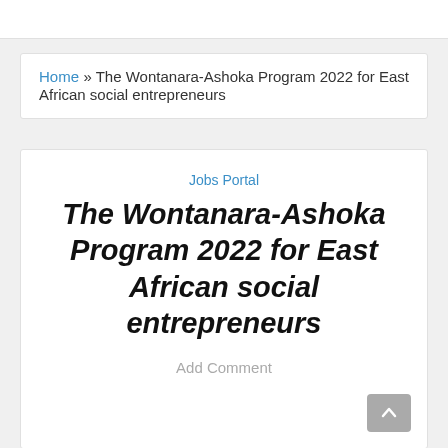Home » The Wontanara-Ashoka Program 2022 for East African social entrepreneurs
Jobs Portal
The Wontanara-Ashoka Program 2022 for East African social entrepreneurs
Add Comment